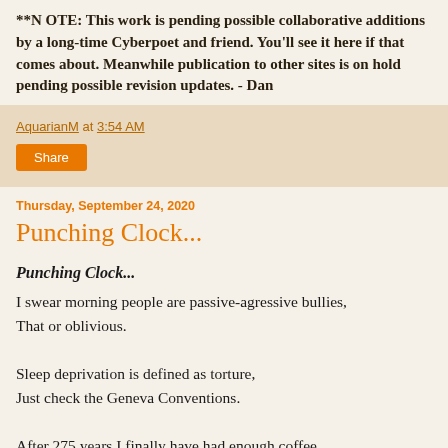**N OTE: This work is pending possible collaborative additions by a long-time Cyberpoet and friend. You'll see it here if that comes about. Meanwhile publication to other sites is on hold pending possible revision updates. - Dan
AquarianM at 3:54 AM
Share
Thursday, September 24, 2020
Punching Clock...
Punching Clock...

I swear morning people are passive-agressive bullies,
That or oblivious.

Sleep deprivation is defined as torture,
Just check the Geneva Conventions.

After 275 years I finally have had enough coffee,